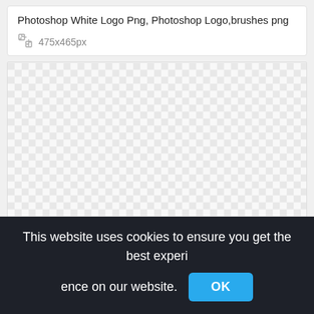Photoshop White Logo Png, Photoshop Logo,brushes png
475x465px
[Figure (other): Transparent/checkered background preview area showing a transparent PNG image with checkerboard pattern]
This website uses cookies to ensure you get the best experience on our website.